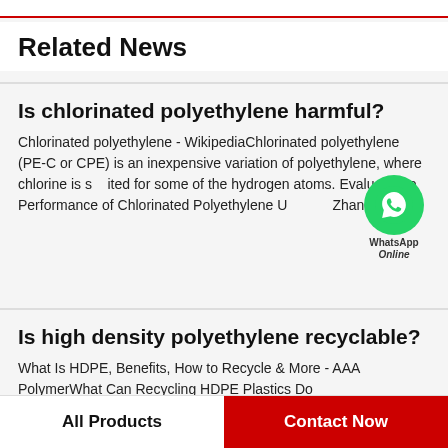Related News
Is chlorinated polyethylene harmful?
Chlorinated polyethylene - WikipediaChlorinated polyethylene (PE-C or CPE) is an inexpensive variation of polyethylene, where chlorine is substituted for some of the hydrogen atoms. Evaluation of Performance of Chlorinated Polyethylene Used by Zhang...
Is high density polyethylene recyclable?
What Is HDPE, Benefits, How to Recycle & More - AAA PolymerWhat Can Recycling HDPE Plastics Do
All Products    Contact Now